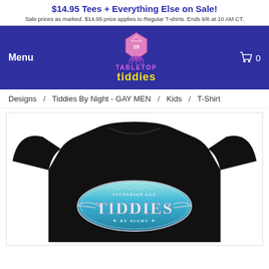$14.95 Tees + Everything Else on Sale! Sale prices as marked. $14.95 price applies to Regular T-shirts. Ends 9/6 at 10 AM CT.
[Figure (logo): Tabletop Tiddies logo with pink text TABLETOP, yellow text tiddies, and a pink D20 dice with purple octopus tentacles]
Menu
0
Designs / Tiddies By Night - GAY MEN / Kids / T-Shirt
[Figure (photo): Black kids t-shirt displayed on a white background, featuring a teal oval badge design with text VICTORIAN AGE TIDDIES BY NIGHT in metallic silver letters]